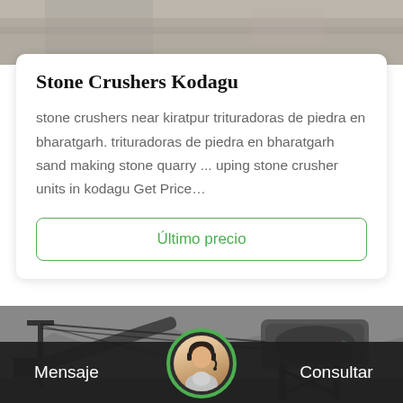[Figure (photo): Top portion of stone crusher machinery image, grayscale/muted tones]
Stone Crushers Kodagu
stone crushers near kiratpur trituradoras de piedra en bharatgarh. trituradoras de piedra en bharatgarh sand making stone quarry ... uping stone crusher units in kodagu Get Price…
Último precio
[Figure (photo): Stone crusher industrial machinery in a quarry setting, black and white/monochrome photograph]
Mensaje   Consultar